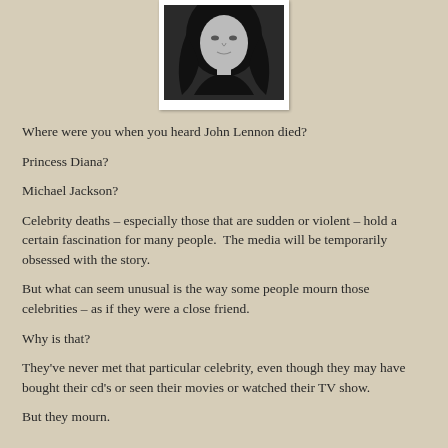[Figure (photo): Black and white portrait photo of a person with long dark hair, positioned at the top center of the page in a white frame.]
Where were you when you heard John Lennon died?
Princess Diana?
Michael Jackson?
Celebrity deaths – especially those that are sudden or violent – hold a certain fascination for many people.  The media will be temporarily obsessed with the story.
But what can seem unusual is the way some people mourn those celebrities – as if they were a close friend.
Why is that?
They've never met that particular celebrity, even though they may have bought their cd's or seen their movies or watched their TV show.
But they mourn.